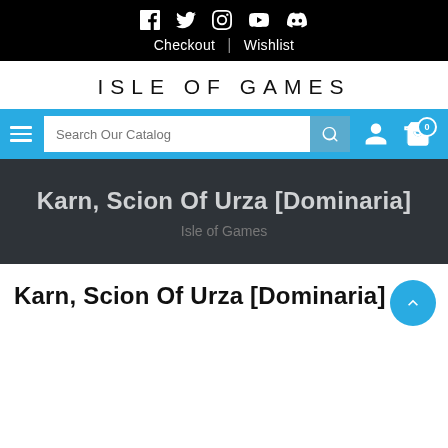Checkout | Wishlist — Social icons: Facebook, Twitter, Instagram, YouTube, Discord
ISLE OF GAMES
[Figure (screenshot): Blue navigation bar with hamburger menu, search field 'Search Our Catalog', search button, user icon, and cart icon with badge 0]
Karn, Scion Of Urza [Dominaria]
Isle of Games
Karn, Scion Of Urza [Dominaria]